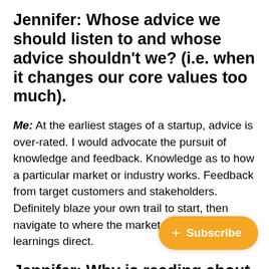Jennifer: Whose advice we should listen to and whose advice shouldn't we? (i.e. when it changes our core values too much).
Me: At the earliest stages of a startup, advice is over-rated. I would advocate the pursuit of knowledge and feedback. Knowledge as to how a particular market or industry works. Feedback from target customers and stakeholders. Definitely blaze your own trail to start, then navigate to where the market and your learnings direct.
Jennifer: Why is reading about startup failures just as important (or more important) than reading about startup successes?